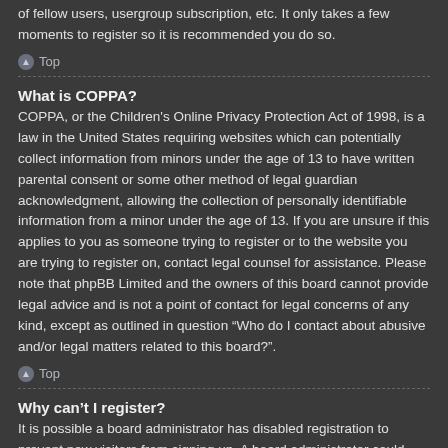of fellow users, usergroup subscription, etc. It only takes a few moments to register so it is recommended you do so.
Top
What is COPPA?
COPPA, or the Children's Online Privacy Protection Act of 1998, is a law in the United States requiring websites which can potentially collect information from minors under the age of 13 to have written parental consent or some other method of legal guardian acknowledgment, allowing the collection of personally identifiable information from a minor under the age of 13. If you are unsure if this applies to you as someone trying to register or to the website you are trying to register on, contact legal counsel for assistance. Please note that phpBB Limited and the owners of this board cannot provide legal advice and is not a point of contact for legal concerns of any kind, except as outlined in question “Who do I contact about abusive and/or legal matters related to this board?”.
Top
Why can’t I register?
It is possible a board administrator has disabled registration to prevent new visitors from signing up. A board administrator could have also banned your IP address or disallowed the username you are attempting to register. Contact a board administrator for assistance.
Top